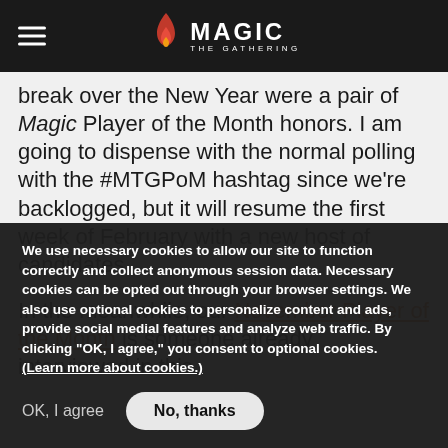Magic: The Gathering
break over the New Year were a pair of Magic Player of the Month honors. I am going to dispense with the normal polling with the #MTGPoM hashtag since we're backlogged, but it will resume the first week of February with a new host of candidates.

In the meanwhile, our November Player of the Month is someone already interviewed in this
We use necessary cookies to allow our site to function correctly and collect anonymous session data. Necessary cookies can be opted out through your browser settings. We also use optional cookies to personalize content and ads, provide social medial features and analyze web traffic. By clicking “OK, I agree,” you consent to optional cookies. (Learn more about cookies.)